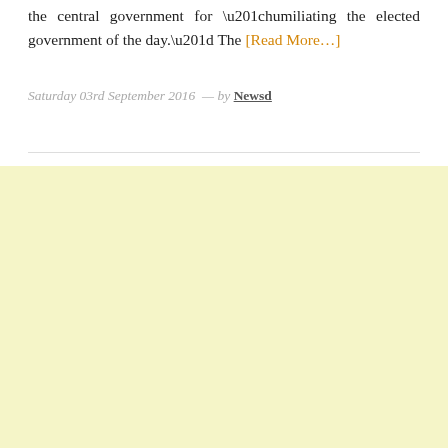the central government for “humiliating the elected government of the day.” The [Read More…]
Saturday 03rd September 2016  —  by Newsd